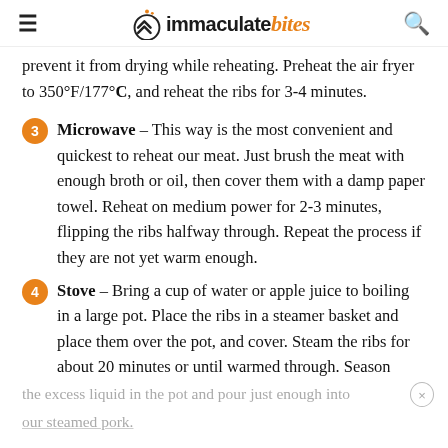immaculate bites
prevent it from drying while reheating. Preheat the air fryer to 350°F/177°C, and reheat the ribs for 3-4 minutes.
3 Microwave – This way is the most convenient and quickest to reheat our meat. Just brush the meat with enough broth or oil, then cover them with a damp paper towel. Reheat on medium power for 2-3 minutes, flipping the ribs halfway through. Repeat the process if they are not yet warm enough.
4 Stove – Bring a cup of water or apple juice to boiling in a large pot. Place the ribs in a steamer basket and place them over the pot, and cover. Steam the ribs for about 20 minutes or until warmed through. Season
the excess liquid in the pot and pour just enough into
our steamed pork.